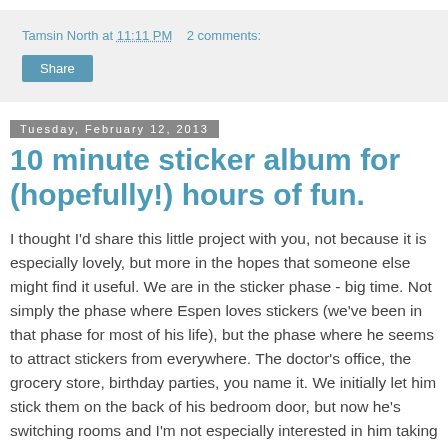Tamsin North at 11:11 PM   2 comments:
Share
Tuesday, February 12, 2013
10 minute sticker album for (hopefully!) hours of fun.
I thought I'd share this little project with you, not because it is especially lovely, but more in the hopes that someone else might find it useful. We are in the sticker phase - big time. Not simply the phase where Espen loves stickers (we've been in that phase for most of his life), but the phase where he seems to attract stickers from everywhere. The doctor's office, the grocery store, birthday parties, you name it. We initially let him stick them on the back of his bedroom door, but now he's switching rooms and I'm not especially interested in him taking this habit with him. The fact that he